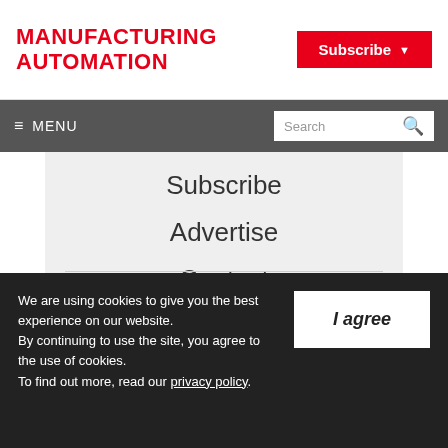MANUFACTURING AUTOMATION
Subscribe ▾
≡ MENU   Search
Subscribe
Advertise
Contact
About
We are using cookies to give you the best experience on our website.
By continuing to use the site, you agree to the use of cookies.
To find out more, read our privacy policy.
I agree